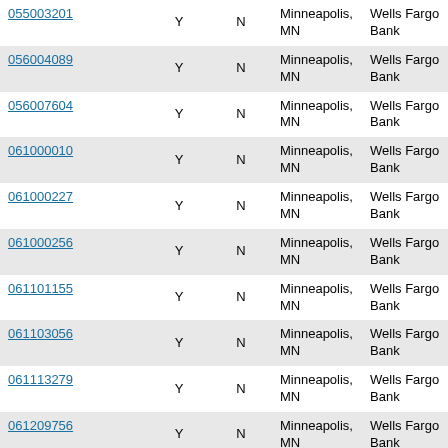| 055003201 | Y | N | Minneapolis, MN | Wells Fargo Bank |
| 056004089 | Y | N | Minneapolis, MN | Wells Fargo Bank |
| 056007604 | Y | N | Minneapolis, MN | Wells Fargo Bank |
| 061000010 | Y | N | Minneapolis, MN | Wells Fargo Bank |
| 061000227 | Y | N | Minneapolis, MN | Wells Fargo Bank |
| 061000256 | Y | N | Minneapolis, MN | Wells Fargo Bank |
| 061101155 | Y | N | Minneapolis, MN | Wells Fargo Bank |
| 061103056 | Y | N | Minneapolis, MN | Wells Fargo Bank |
| 061113279 | Y | N | Minneapolis, MN | Wells Fargo Bank |
| 061209756 | Y | N | Minneapolis, MN | Wells Fargo Bank |
| 062000080 | Y | N | Minneapolis, MN | Wells Fargo Bank |
| 062203751 | Y | N | Minneapolis, MN | Wells Fargo Bank |
| 063000021 | Y | N | Minneapolis, MN | Wells Fargo Bank |
|  | Y | N | Minneapolis, |  |